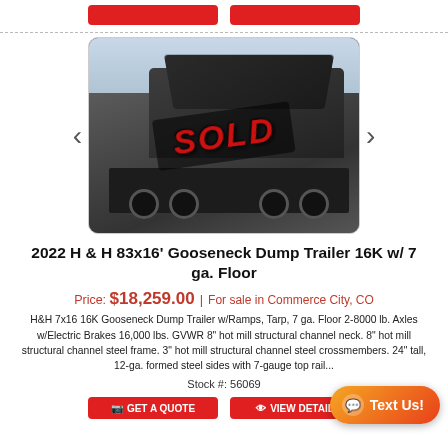[Figure (photo): Photo of a 2022 H&H 83x16 Gooseneck Dump Trailer with a red SOLD overlay stamp on the image.]
2022 H & H 83x16' Gooseneck Dump Trailer 16K w/ 7 ga. Floor
Price: $18,259.00 | For sale in Commerce City, CO
H&H 7x16 16K Gooseneck Dump Trailer w/Ramps, Tarp, 7 ga. Floor 2-8000 lb. Axles w/Electric Brakes 16,000 lbs. GVWR 8" hot mill structural channel neck. 8" hot mill structural channel steel frame. 3" hot mill structural channel steel crossmembers. 24" tall, 12-ga. formed steel sides with 7-gauge top rail...
Stock #: 56069